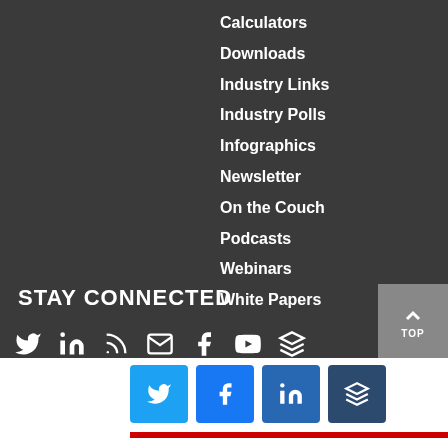Calculators
Downloads
Industry Links
Industry Polls
Infographics
Newsletter
On the Couch
Podcasts
Webinars
White Papers
STAY CONNECTED
[Figure (infographic): Social media icons row: Twitter, LinkedIn, RSS, Email, Facebook, YouTube, Buffer on dark background]
[Figure (infographic): Share buttons row: Twitter (blue), Facebook (blue), LinkedIn (dark blue), Buffer (dark navy), with red bar below]